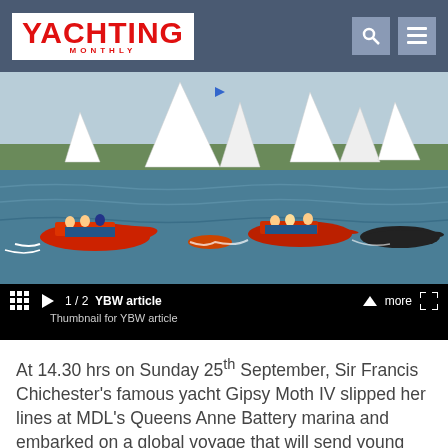YACHTING MONTHLY
[Figure (photo): Sailboats and motorboats on open water during a sailing event, with trees/land visible in background]
1 / 2  YBW article — Thumbnail for YBW article
At 14.30 hrs on Sunday 25th September, Sir Francis Chichester's famous yacht Gipsy Moth IV slipped her lines at MDL's Queens Anne Battery marina and embarked on a global voyage that will send young adults on the adventure of a lifetime.